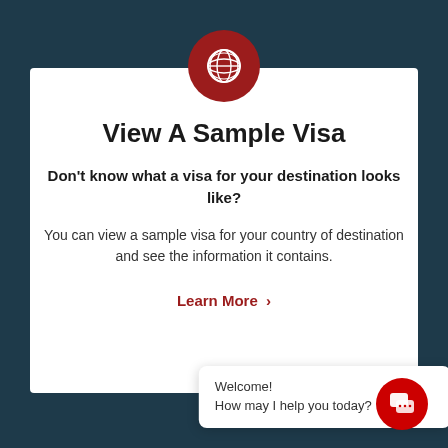[Figure (illustration): Dark red circular icon with white globe/world grid symbol]
View A Sample Visa
Don't know what a visa for your destination looks like?
You can view a sample visa for your country of destination and see the information it contains.
Learn More ›
Welcome!
How may I help you today?